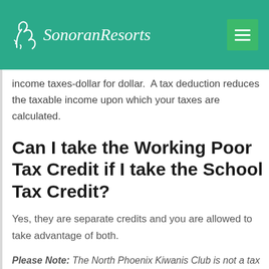Sonoran Resorts
income taxes-dollar for dollar.  A tax deduction reduces the taxable income upon which your taxes are calculated.
Can I take the Working Poor Tax Credit if I take the School Tax Credit?
Yes, they are separate credits and you are allowed to take advantage of both.
Please Note: The North Phoenix Kiwanis Club is not a tax advisor. Please contact a qualified